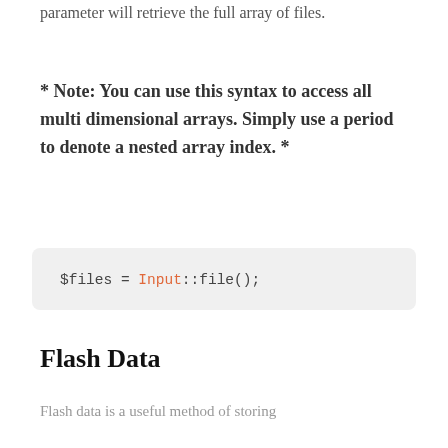parameter will retrieve the full array of files.
* Note: You can use this syntax to access all multi dimensional arrays. Simply use a period to denote a nested array index. *
$files = Input::file();
Flash Data
Flash data is a useful method of storing